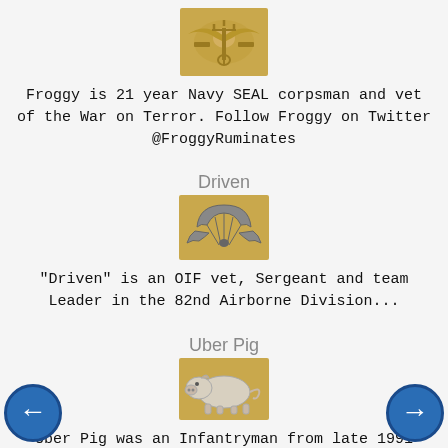[Figure (illustration): Gold/tan background badge with Navy SEAL Trident insignia in metallic gold]
Froggy is 21 year Navy SEAL corpsman and vet of the War on Terror. Follow Froggy on Twitter @FroggyRuminates
Driven
[Figure (illustration): Gold/tan background badge with Army Airborne parachutist wings insignia]
"Driven" is an OIF vet, Sergeant and team Leader in the 82nd Airborne Division...
Uber Pig
[Figure (illustration): Gold/tan background badge with a pig silhouette figure]
Uber Pig was an Infantryman from late 1991 until early 1996, serving with Second Ranger Battalion, I Corps, and then 25th Infantry Division. At the time, the Army discriminated against enlisted soldiers who wanted use the "Green to Gold" program to become officers, so he left to attend Stanford University. There.